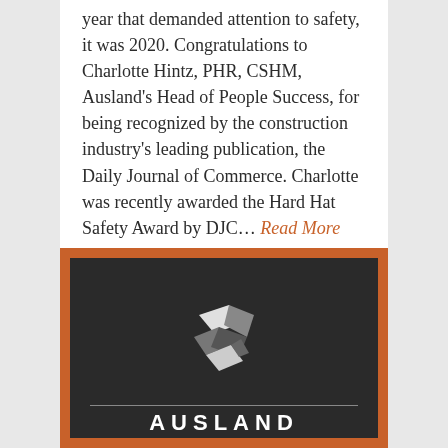year that demanded attention to safety, it was 2020. Congratulations to Charlotte Hintz, PHR, CSHM, Ausland's Head of People Success, for being recognized by the construction industry's leading publication, the Daily Journal of Commerce. Charlotte was recently awarded the Hard Hat Safety Award by DJC… Read More
Blog / News Articles / Press Releases
[Figure (logo): Ausland company logo: orange-bordered dark background with geometric diamond/hexagon logo mark in white and grey, horizontal divider line, and 'AUSLAND' text in bold white letters at the bottom]